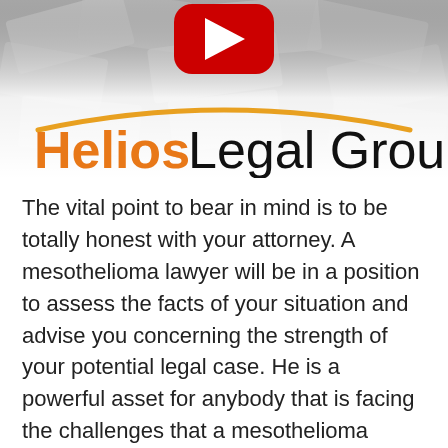[Figure (logo): Helios Legal Group logo with YouTube play button overlay on background of money bills. Orange arc above text. 'Helios' in orange, 'Legal Group' in black.]
The vital point to bear in mind is to be totally honest with your attorney. A mesothelioma lawyer will be in a position to assess the facts of your situation and advise you concerning the strength of your potential legal case. He is a powerful asset for anybody that is facing the challenges that a mesothelioma diagnosis brings.
An attorney whose practice is devoted to